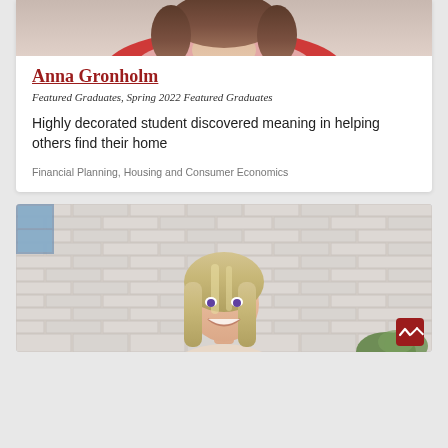[Figure (photo): Top portion of a person with long brown hair, cropped showing just the top of their head and shoulders, wearing red/white clothing]
Anna Gronholm
Featured Graduates, Spring 2022 Featured Graduates
Highly decorated student discovered meaning in helping others find their home
Financial Planning, Housing and Consumer Economics
[Figure (photo): A smiling young woman with long blonde hair standing in front of a white brick wall with green plants visible, photographed outdoors]